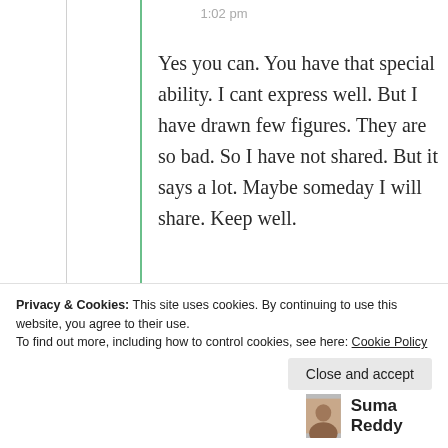1:02 pm
Yes you can. You have that special ability. I cant express well. But I have drawn few figures. They are so bad. So I have not shared. But it says a lot. Maybe someday I will share. Keep well.
Privacy & Cookies: This site uses cookies. By continuing to use this website, you agree to their use.
To find out more, including how to control cookies, see here: Cookie Policy
Close and accept
Suma Reddy